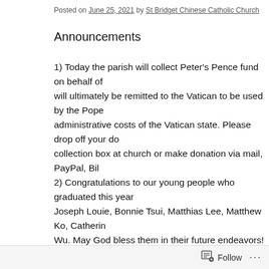Posted on June 25, 2021 by St Bridget Chinese Catholic Church
Announcements
1) Today the parish will collect Peter’s Pence fund on behalf of will ultimately be remitted to the Vatican to be used by the Pope administrative costs of the Vatican state. Please drop off your do collection box at church or make donation via mail, PayPal, Bil 2) Congratulations to our young people who graduated this year Joseph Louie, Bonnie Tsui, Matthias Lee, Matthew Ko, Catherin Wu. May God bless them in their future endeavors! 3) July 2, First Friday: There will be Adoration at 7:30pm, Mass 8:00pm, you are all welcome. 4) The new 2021-2022 RCIA class will start in July 11. We wou family’s member, friends or neighbor, who do not know about C learn about the Catholic faith again, to join the RCIA class. Plea Maria Lai, Savio Chan, Connie Lau, David Law or Eric Li. 5) Together In Mission: the goal assigned for St. Bridget Chine…
Follow ...